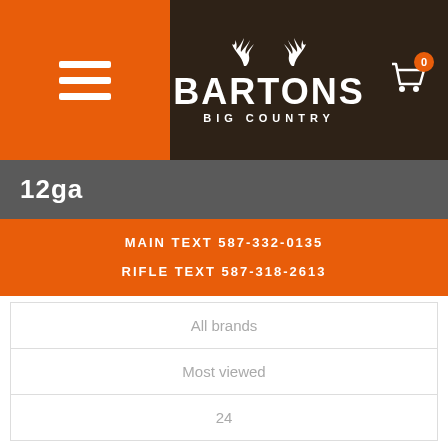Bartons Big Country - Navigation header with hamburger menu and cart
12ga
MAIN TEXT 587-332-0135
RIFLE TEXT 587-318-2613
All brands
Most viewed
24
[Figure (screenshot): Grid/list view toggle icon]
[Figure (photo): Lightfield shotgun shells product box]
[Figure (photo): Challenger ammunition product box]